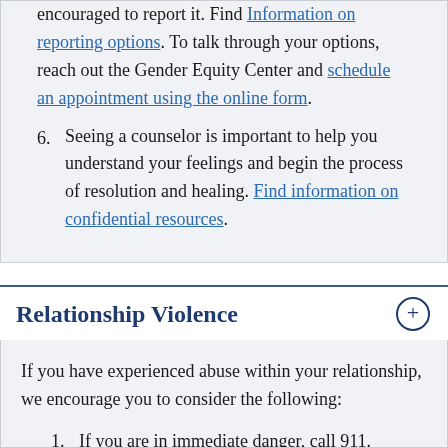encouraged to report it. Find Information on reporting options. To talk through your options, reach out the Gender Equity Center and schedule an appointment using the online form.
6. Seeing a counselor is important to help you understand your feelings and begin the process of resolution and healing. Find information on confidential resources.
Relationship Violence
If you have experienced abuse within your relationship, we encourage you to consider the following:
1. If you are in immediate danger, call 911.
2. Go to a safe place as soon as you can.
3. Get medical attention if needed.